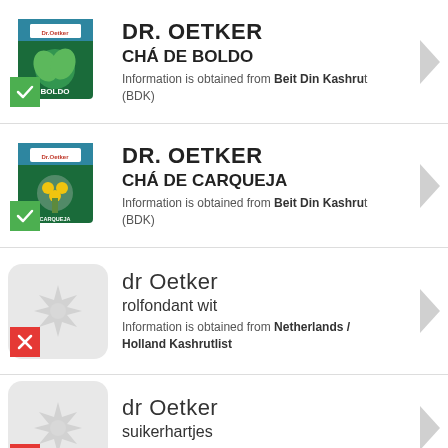DR. OETKER CHÁ DE BOLDO - Information is obtained from Beit Din Kashrut (BDK)
DR. OETKER CHÁ DE CARQUEJA - Information is obtained from Beit Din Kashrut (BDK)
dr Oetker rolfondant wit - Information is obtained from Netherlands / Holland Kashrutlist
dr Oetker suikerhartjes - Information is obtained from Netherlands / Holland Kashrutlist